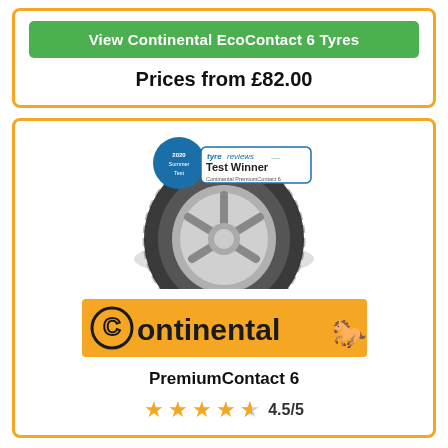View Continental EcoContact 6 Tyres
Prices from £82.00
[Figure (photo): Continental PremiumContact 6 tyre with a TyreReviews.com 2020 Summer Test Winner badge]
[Figure (logo): Continental logo bar in orange with horse icon]
PremiumContact 6
4.5/5